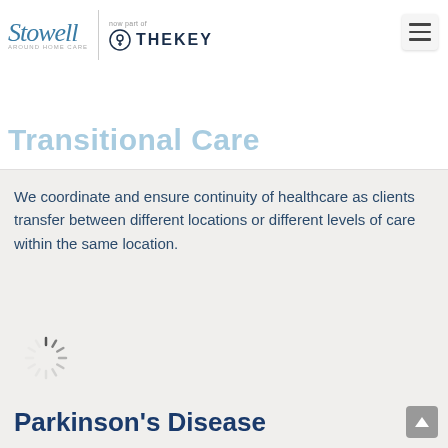Stowell Around Home Care | now part of TheKey
Transitional Care
We coordinate and ensure continuity of healthcare as clients transfer between different locations or different levels of care within the same location.
[Figure (other): Loading spinner animation icon]
Parkinson's Disease